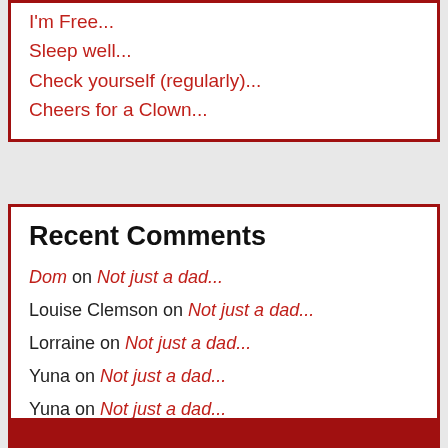I'm Free...
Sleep well...
Check yourself (regularly)...
Cheers for a Clown...
Recent Comments
Dom on Not just a dad...
Louise Clemson on Not just a dad...
Lorraine on Not just a dad...
Yuna on Not just a dad...
Yuna on Not just a dad...